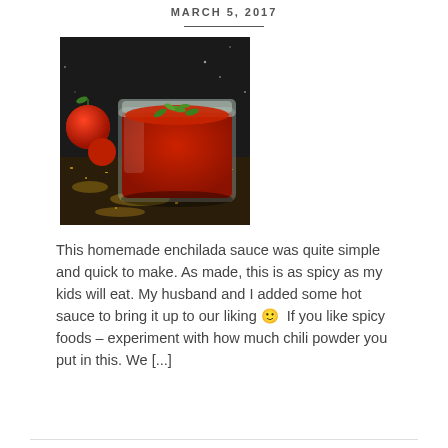MARCH 5, 2017
[Figure (photo): A glass jar of red enchilada sauce garnished with green herbs, with cherry tomatoes on a dark background with golden spices scattered around.]
This homemade enchilada sauce was quite simple and quick to make. As made, this is as spicy as my kids will eat. My husband and I added some hot sauce to bring it up to our liking 🙂  If you like spicy foods – experiment with how much chili powder you put in this. We [...]